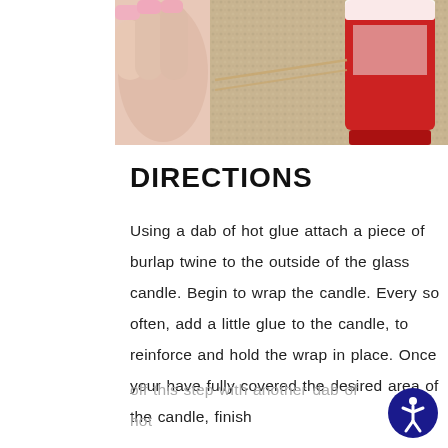[Figure (photo): Photo of hands holding a red candle on a textured beige/tan carpet background, with pink fingernails visible on the left and a red glass candle jar with twine visible on the right.]
DIRECTIONS
Using a dab of hot glue attach a piece of burlap twine to the outside of the glass candle. Begin to wrap the candle.  Every so often, add a little glue to the candle, to reinforce and hold the wrap in place.  Once your have fully covered the desired area of the candle, finish off this step with another dab of hot